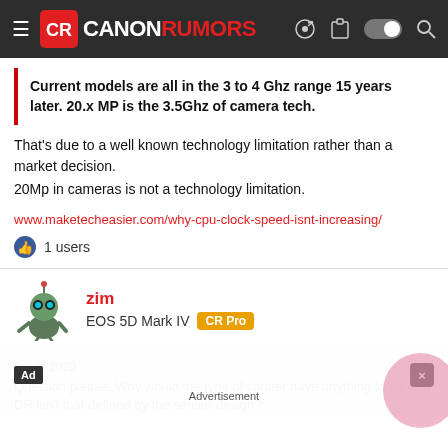CANON RUMORS
Current models are all in the 3 to 4 Ghz range 15 years later. 20.x MP is the 3.5Ghz of camera tech.
That's due to a well known technology limitation rather than a market decision.
20Mp in cameras is not a technology limitation.
www.maketecheasier.com/why-cpu-clock-speed-isnt-increasing/
1 users
zim
EOS 5D Mark IV  CR Pro
Oct 8, 2020
Question please. Why would the type of shutter have anything to do with DR isn't that defined by the sensor design?